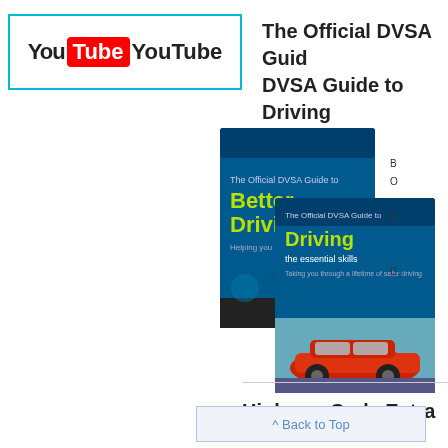[Figure (logo): YouTube logo with 'You Tube YouTube' text inside a cyan-bordered box]
The Official DVSA Guide to... DVSA Guide to Driving...
[Figure (photo): Two book covers: 'The Official DVSA Guide to Better Driving' and 'The Official DVSA Guide to Driving the essential skills', the latter featuring a red car]
B... O... S...
Highway Code Extra –
Back to Top